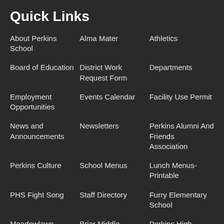Quick Links
About Perkins School
Alma Mater
Athletics
Board of Education
District Work Request Form
Departments
Employment Opportunities
Events Calendar
Facility Use Permit
News and Announcements
Newsletters
Perkins Alumni And Friends Association
Perkins Culture
School Menus
Lunch Menus-Printable
PHS Fight Song
Staff Directory
Furry Elementary School
Meadowlawn Intermediate
Briar Middle
Perkins High